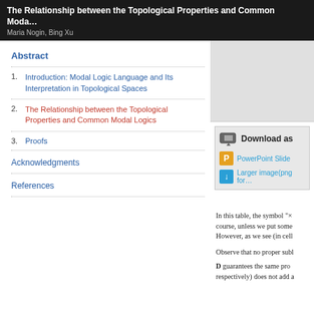The Relationship between the Topological Properties and Common Moda...
Maria Nogin, Bing Xu
Abstract
1. Introduction: Modal Logic Language and Its Interpretation in Topological Spaces
2. The Relationship between the Topological Properties and Common Modal Logics
3. Proofs
Acknowledgments
References
[Figure (infographic): Download as panel with PowerPoint Slide and Larger image (png format) options]
In this table, the symbol "x course, unless we put some However, as we see (in cell
Observe that no proper subl
D guarantees the same pro respectively) does not add a